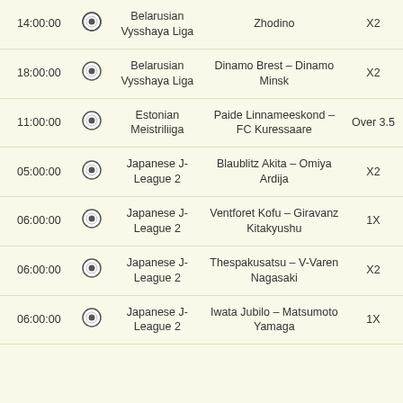| Time |  | League | Match | Bet |
| --- | --- | --- | --- | --- |
| 14:00:00 | ⚽ | Belarusian Vysshaya Liga | Zhodino | X2 |
| 18:00:00 | ⚽ | Belarusian Vysshaya Liga | Dinamo Brest – Dinamo Minsk | X2 |
| 11:00:00 | ⚽ | Estonian Meistriliiga | Paide Linnameeskond – FC Kuressaare | Over 3.5 |
| 05:00:00 | ⚽ | Japanese J-League 2 | Blaublitz Akita – Omiya Ardija | X2 |
| 06:00:00 | ⚽ | Japanese J-League 2 | Ventforet Kofu – Giravanz Kitakyushu | 1X |
| 06:00:00 | ⚽ | Japanese J-League 2 | Thespakusatsu – V-Varen Nagasaki | X2 |
| 06:00:00 | ⚽ | Japanese J-League 2 | Iwata Jubilo – Matsumoto Yamaga | 1X |